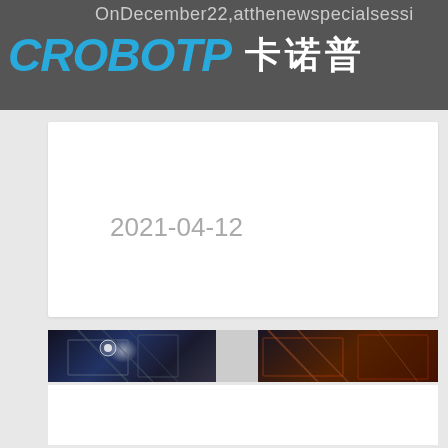OnDecember22,atthenewspecialsessi
CROBOTP 卡诺普
2021-04-12
[Figure (photo): Horizontal photo strip showing industrial/robotic equipment in dark setting, split into left and right sections with a light gap in the middle]